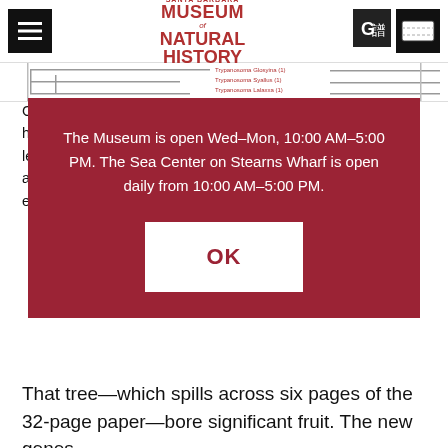[Figure (logo): Santa Barbara Museum of Natural History logo in dark red/maroon text]
[Figure (screenshot): Partial phylogenetic tree diagram visible behind modal overlay]
The Museum is open Wed–Mon, 10:00 AM–5:00 PM. The Sea Center on Stearns Wharf is open daily from 10:00 AM–5:00 PM.
OK
each of the 395 species sampled.
That tree—which spills across six pages of the 32-page paper—bore significant fruit. The new genes